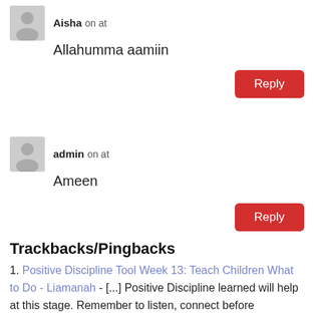Aisha on at
Allahumma aamiin
Reply
admin on at
Ameen
Reply
Trackbacks/Pingbacks
1. Positive Discipline Tool Week 13: Teach Children What to Do - Liamanah - [...] Positive Discipline learned will help at this stage. Remember to listen, connect before correcting, spend special time and take...